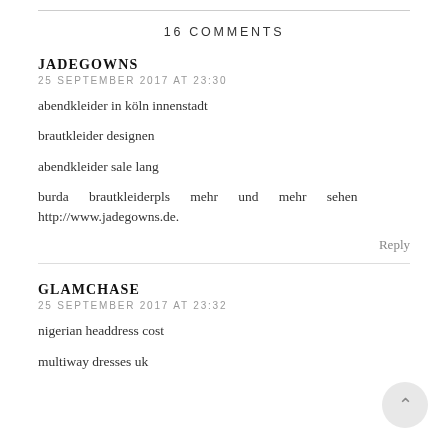16 COMMENTS
JADEGOWNS
25 SEPTEMBER 2017 AT 23:30
abendkleider in köln innenstadt
brautkleider designen
abendkleider sale lang
burda brautkleiderpls mehr und mehr sehen http://www.jadegowns.de.
Reply
GLAMCHASE
25 SEPTEMBER 2017 AT 23:32
nigerian headdress cost
multiway dresses uk